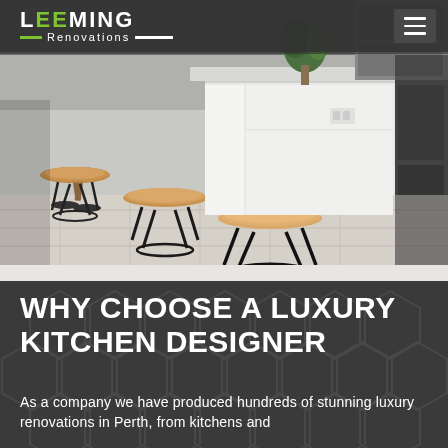LEEMING Renovations
[Figure (photo): Modern luxury kitchen with white island bench and wooden round bar stools with black metal legs on light tile floor. Green plant and stainless steel appliances visible in background.]
WHY CHOOSE A LUXURY KITCHEN DESIGNER
As a company we have produced hundreds of stunning luxury renovations in Perth, from kitchens and